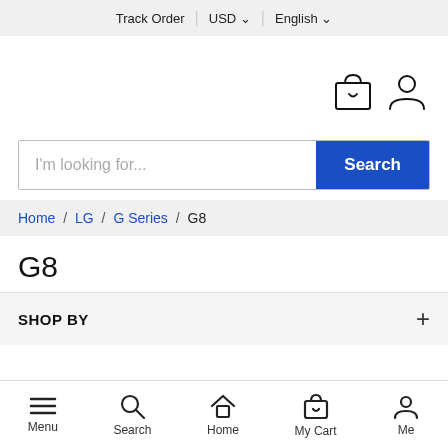Track Order | USD ∨ | English ∨
[Figure (illustration): Shopping bag icon and user/person icon in top-right area]
I'm looking for...
Search
Home / LG / G Series / G8
G8
SHOP BY
Menu | Search | Home | My Cart | Me